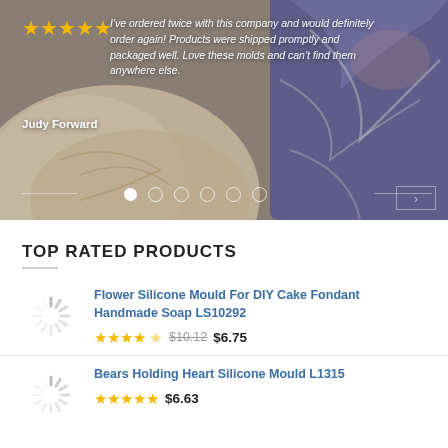[Figure (photo): Hero image of handmade soaps — a swirled cream heart-shaped soap on left and a purple-white swirled rectangular soap on right, with a customer review overlay containing 5 gold stars and italic white text, plus slider navigation dots at the bottom.]
I've ordered twice with this company and would definitely order again! Products were shipped promptly and packaged well. Love these molds and can't find them anywhere else.
Judy Forward
TOP RATED PRODUCTS
Flower Silicone Mould For DIY Cake Fondant Handmade Soap LS10292
$10.12  $6.75
Bears Holding Heart Silicone Mould L1315
$6.63